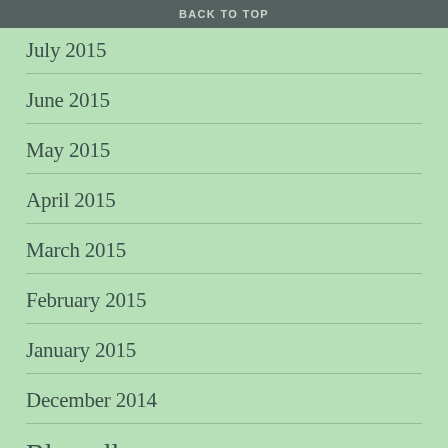BACK TO TOP
July 2015
June 2015
May 2015
April 2015
March 2015
February 2015
January 2015
December 2014
Blogroll